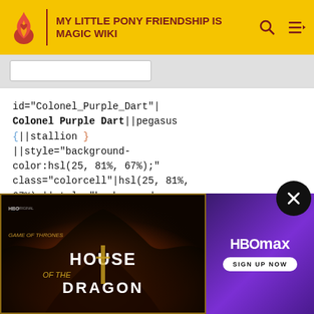MY LITTLE PONY FRIENDSHIP IS MAGIC WIKI
id="Colonel_Purple_Dart"|
Colonel Purple Dart||pegasus
{||stallion }
||style="background-color:hsl(25, 81%, 67%);" class="colorcell"|hsl(25, 81%, 67%)¤||style="background-color:hsl(84, 3%, 37%);" class="colorcell"|hsl(84, 3%, 37%)¤||style="background-color:hsl(120, 31%, 27%);" class=
27%)¤
21
05
21||Th
Wonderbolts in the 4th
[Figure (screenshot): HBO Max advertisement for House of the Dragon, showing the show's title logo on a dark fantasy background with a close button overlay]